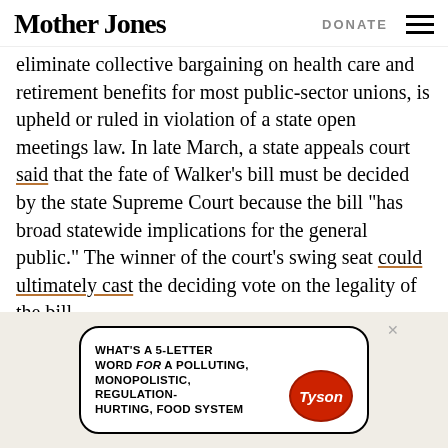Mother Jones | DONATE
eliminate collective bargaining on health care and retirement benefits for most public-sector unions, is upheld or ruled in violation of a state open meetings law. In late March, a state appeals court said that the fate of Walker’s bill must be decided by the state Supreme Court because the bill “has broad statewide implications for the general public.” The winner of the court’s swing seat could ultimately cast the deciding vote on the legality of the bill.
[Figure (illustration): Advertisement banner showing hand-drawn text reading WHAT'S A 5-LETTER WORD for A POLLUTING, MONOPOLISTIC, REGULATION-HURTING, FOOD SYSTEM with a Tyson logo badge and a close button]